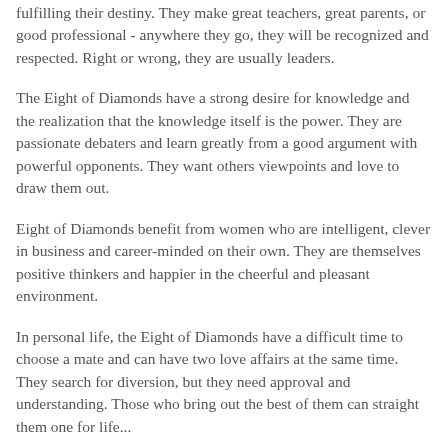fulfilling their destiny. They make great teachers, great parents, or good professional - anywhere they go, they will be recognized and respected. Right or wrong, they are usually leaders.
The Eight of Diamonds have a strong desire for knowledge and the realization that the knowledge itself is the power. They are passionate debaters and learn greatly from a good argument with powerful opponents. They want others viewpoints and love to draw them out.
Eight of Diamonds benefit from women who are intelligent, clever in business and career-minded on their own. They are themselves positive thinkers and happier in the cheerful and pleasant environment.
In personal life, the Eight of Diamonds have a difficult time to choose a mate and can have two love affairs at the same time. They search for diversion, but they need approval and understanding. Those who bring out the best of them can straight them one for life...